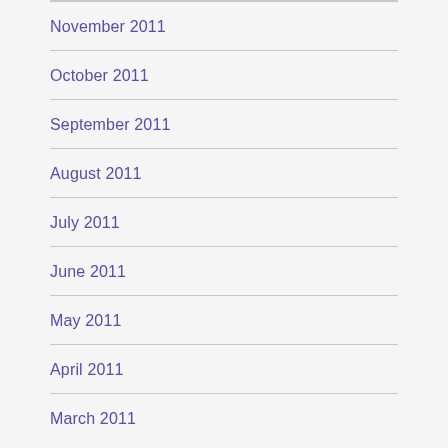November 2011
October 2011
September 2011
August 2011
July 2011
June 2011
May 2011
April 2011
March 2011